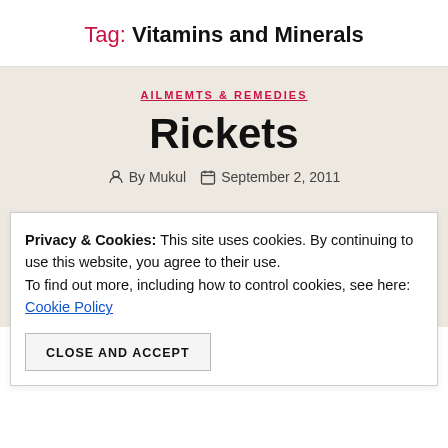Tag: Vitamins and Minerals
AILMEMTS & REMEDIES
Rickets
By Mukul   September 2, 2011
Privacy & Cookies: This site uses cookies. By continuing to use this website, you agree to their use. To find out more, including how to control cookies, see here: Cookie Policy
CLOSE AND ACCEPT
to fractures and deformity. Rickets is among the most